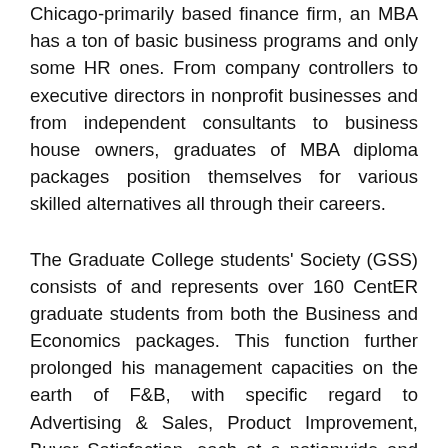Chicago-primarily based finance firm, an MBA has a ton of basic business programs and only some HR ones. From company controllers to executive directors in nonprofit businesses and from independent consultants to business house owners, graduates of MBA diploma packages position themselves for various skilled alternatives all through their careers.
The Graduate College students' Society (GSS) consists of and represents over 160 CentER graduate students from both the Business and Economics packages. This function further prolonged his management capacities on the earth of F&B, with specific regard to Advertising & Sales, Product Improvement, Buyer Satisfaction, each at a nationwide and international stage.